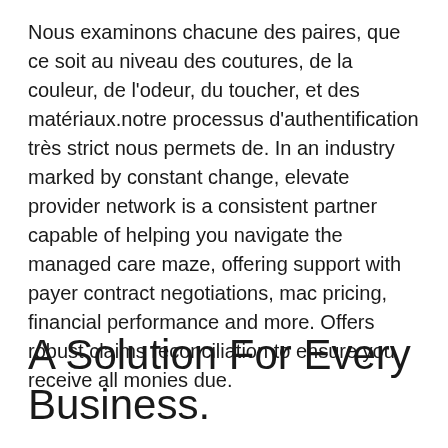Nous examinons chacune des paires, que ce soit au niveau des coutures, de la couleur, de l'odeur, du toucher, et des matériaux.notre processus d'authentification très strict nous permets de. In an industry marked by constant change, elevate provider network is a consistent partner capable of helping you navigate the managed care maze, offering support with payer contract negotiations, mac pricing, financial performance and more. Offers robust claims reconciliation to ensure you receive all monies due.
A Solution For Every Business.